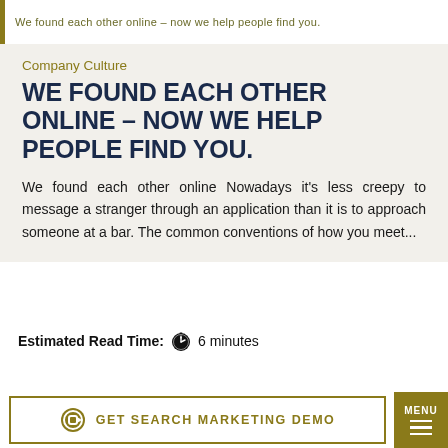We found each other online – now we help people find you.
Company Culture
WE FOUND EACH OTHER ONLINE – NOW WE HELP PEOPLE FIND YOU.
We found each other online Nowadays it's less creepy to message a stranger through an application than it is to approach someone at a bar. The common conventions of how you meet...
Estimated Read Time: 🕐 6 minutes
GET SEARCH MARKETING DEMO
MENU